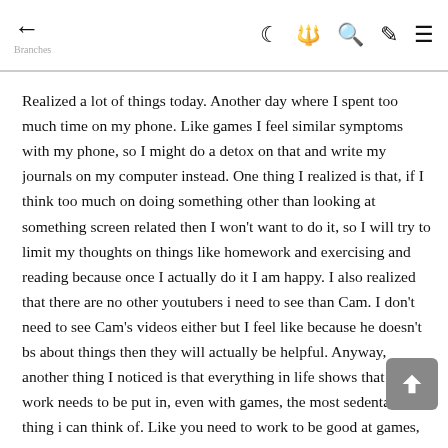← [navigation icons: moon, grid, search, brush, menu]
Realized a lot of things today. Another day where I spent too much time on my phone. Like games I feel similar symptoms with my phone, so I might do a detox on that and write my journals on my computer instead. One thing I realized is that, if I think too much on doing something other than looking at something screen related then I won't want to do it, so I will try to limit my thoughts on things like homework and exercising and reading because once I actually do it I am happy. I also realized that there are no other youtubers i need to see than Cam. I don't need to see Cam's videos either but I feel like because he doesn't bs about things then they will actually be helpful. Anyway, another thing I noticed is that everything in life shows that some work needs to be put in, even with games, the most sedentary thing i can think of. Like you need to work to be good at games, you need to work to do hard things and go towards your dreams. I am honestly glad it's this way as it shows us that we can't take the easy route cause then we'll be good at nothing. Today I also realized a